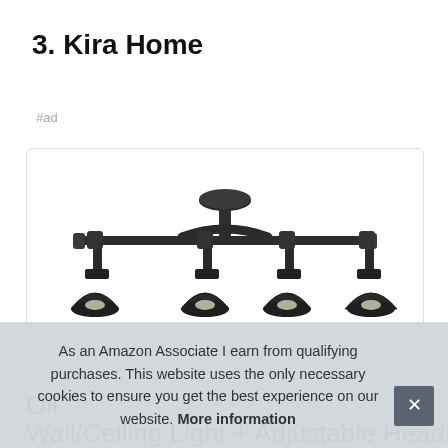3. Kira Home
#ad
[Figure (photo): Product photo of a Kira Home 4-head oil-rubbed bronze track/ceiling light fixture with adjustable lamp heads on a horizontal bar, ceiling-mounted canopy on top.]
Oil
Wall/Ceiling Light + Adjustable Heads
As an Amazon Associate I earn from qualifying purchases. This website uses the only necessary cookies to ensure you get the best experience on our website. More information